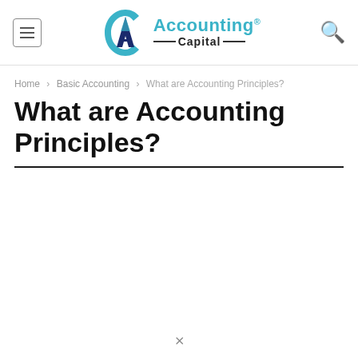Accounting Capital
Home › Basic Accounting › What are Accounting Principles?
What are Accounting Principles?